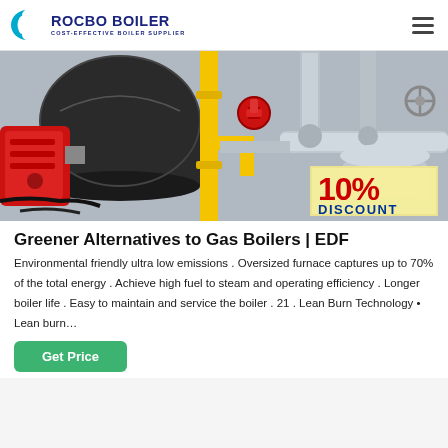ROCBO BOILER — COST-EFFECTIVE BOILER SUPPLIER
[Figure (photo): Industrial gas boiler system with red burner unit on left, yellow gas pipes in center, and silver cylindrical tank with pipe network on right. A 10% DISCOUNT badge is shown in the bottom-right corner of the image.]
Greener Alternatives to Gas Boilers | EDF
Environmental friendly ultra low emissions . Oversized furnace captures up to 70% of the total energy . Achieve high fuel to steam and operating efficiency . Longer boiler life . Easy to maintain and service the boiler . 21 . Lean Burn Technology • Lean burn…
Get Price